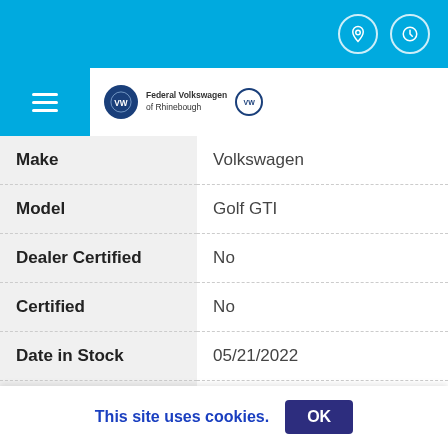Top navigation bar with location and clock icons
Volkswagen dealer logo and hamburger menu
| Field | Value |
| --- | --- |
| Make | Volkswagen |
| Model | Golf GTI |
| Dealer Certified | No |
| Certified | No |
| Date in Stock | 05/21/2022 |
| Trim | 2.0T Autobahn DSG |
| Model Number | 35127 |
This site uses cookies.
OK